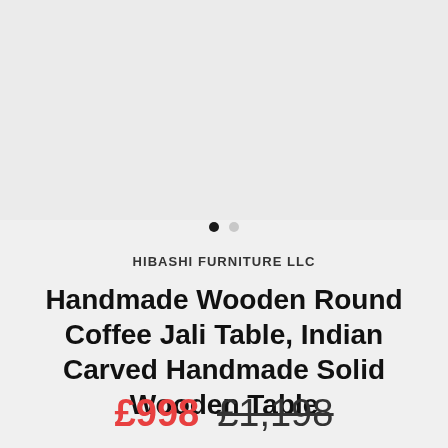[Figure (other): Product image area showing a wooden round coffee table (image carousel with light grey background)]
HIBASHI FURNITURE LLC
Handmade Wooden Round Coffee Jali Table, Indian Carved Handmade Solid Wooden Table
£998  £1,198